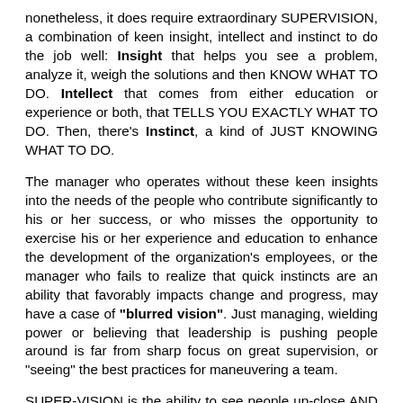nonetheless, it does require extraordinary SUPERVISION, a combination of keen insight, intellect and instinct to do the job well: Insight that helps you see a problem, analyze it, weigh the solutions and then KNOW WHAT TO DO. Intellect that comes from either education or experience or both, that TELLS YOU EXACTLY WHAT TO DO. Then, there's Instinct, a kind of JUST KNOWING WHAT TO DO.
The manager who operates without these keen insights into the needs of the people who contribute significantly to his or her success, or who misses the opportunity to exercise his or her experience and education to enhance the development of the organization's employees, or the manager who fails to realize that quick instincts are an ability that favorably impacts change and progress, may have a case of "blurred vision". Just managing, wielding power or believing that leadership is pushing people around is far from sharp focus on great supervision, or "seeing" the best practices for maneuvering a team.
SUPER-VISION is the ability to see people up-close AND at a distance, a critical watching and directing of the activities